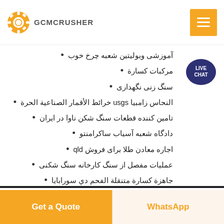GCMCRUSHER
آموزشی وبوليتين شعبه چرخ خوب
مركبات كسارة
سنگ زنی نگهداری
النحاس زامبيا usgs خرائط الأقمار الصناعية الحرة
تامین کننده قطعات سنگ شکن ناوا در ایران
دادگاه شعبه آسیاب ساکرامنتو
اجاره معادن طلا برای فروش qld
عملیات مفصل از سنگ کارخانه سنگ شکنی
جاهزة كسارة متنقلة الفحم دي سورابايا